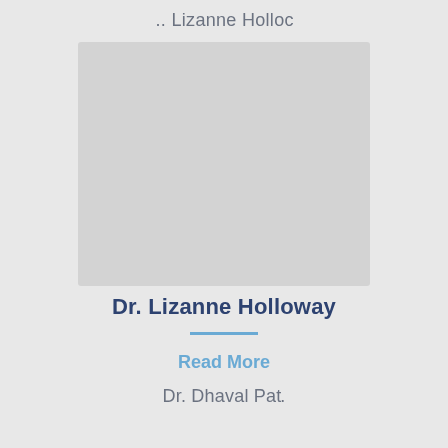.. Lizanne Hollo
[Figure (photo): Profile photo area of Dr. Lizanne Holloway, shown as a light gray rectangle placeholder]
Dr. Lizanne Holloway
Read More
Dr. Dhaval Pat.